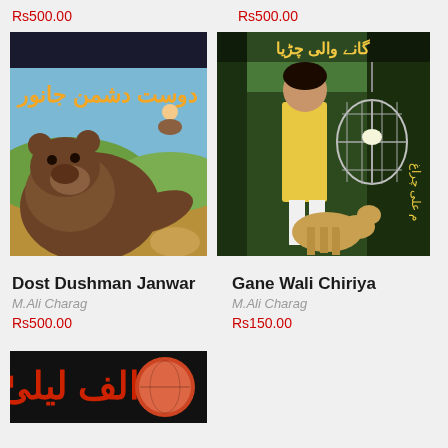Rs500.00
Rs500.00
[Figure (illustration): Book cover of 'Dost Dushman Janwar' showing a bear and other animals with Urdu text on cover]
[Figure (illustration): Book cover of 'Gane Wali Chiriya' showing a boy in yellow shirt with a bird cage and a deer, Urdu text on cover]
Dost Dushman Janwar
M.Ali Charag
Rs500.00
Gane Wali Chiriya
M.Ali Charag
Rs150.00
[Figure (illustration): Partial view of a third book cover with Urdu text on dark background, partially visible at bottom of page]